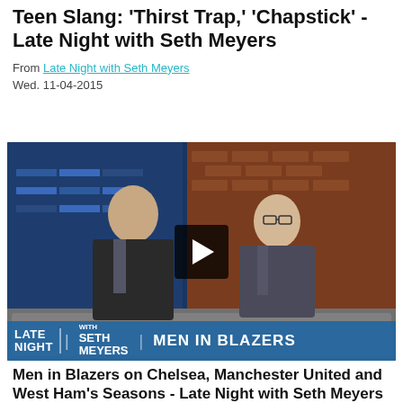Teen Slang: 'Thirst Trap,' 'Chapstick' - Late Night with Seth Meyers
From Late Night with Seth Meyers
Wed. 11-04-2015
[Figure (screenshot): Video thumbnail showing two men in suits sitting on a talk show set. The left man is bald and gesturing with hands. The right man wears glasses. A play button overlay is centered on the image. A blue banner at the bottom shows 'LATE NIGHT WITH SETH MEYERS' on the left and 'MEN IN BLAZERS' on the right.]
Men in Blazers on Chelsea, Manchester United and West Ham's Seasons - Late Night with Seth Meyers